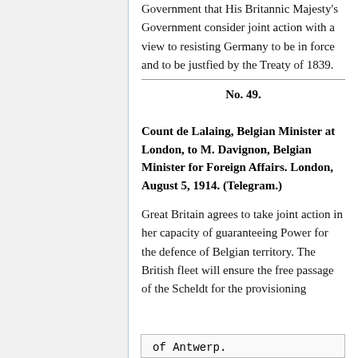Government that His Britannic Majesty's Government consider joint action with a view to resisting Germany to be in force and to be justfied by the Treaty of 1839.
No. 49.
Count de Lalaing, Belgian Minister at London, to M. Davignon, Belgian Minister for Foreign Affairs. London, August 5, 1914. (Telegram.)
Great Britain agrees to take joint action in her capacity of guaranteeing Power for the defence of Belgian territory. The British fleet will ensure the free passage of the Scheldt for the provisioning
of Antwerp.